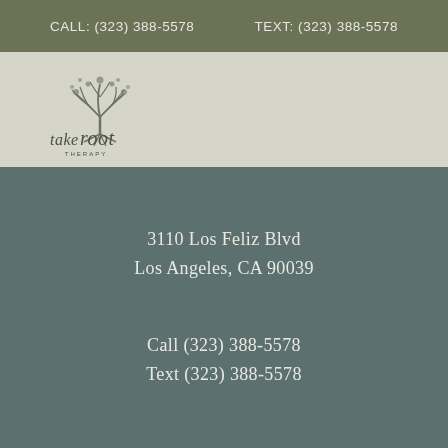CALL: (323) 388-5578     TEXT: (323) 388-5578
[Figure (logo): Take Root Therapy logo with illustrated tree and handwritten-style text]
3110 Los Feliz Blvd
Los Angeles, CA 90039
Call (323) 388-5578
Text (323) 388-5578